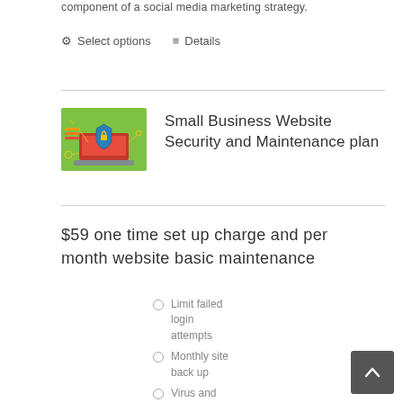component of a social media marketing strategy.
⚙ Select options  ≡ Details
Small Business Website Security and Maintenance plan
[Figure (illustration): Green background illustration showing a laptop with a blue security shield and padlock, with WiFi signal and network connection icons]
$59 one time set up charge and per month website basic maintenance
Limit failed login attempts
Monthly site back up
Virus and